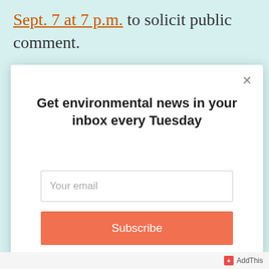Sept. 7 at 7 p.m. to solicit public comment.
[Figure (screenshot): Email newsletter subscription modal dialog with title 'Get environmental news in your inbox every Tuesday', an email input field, and a coral-colored Subscribe button]
AddThis